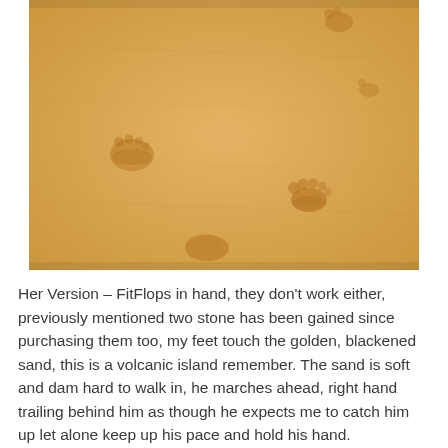[Figure (photo): Aerial view of golden sandy beach with footprints visible in the sand]
Her Version – FitFlops in hand, they don't work either, previously mentioned two stone has been gained since purchasing them too, my feet touch the golden, blackened sand, this is a volcanic island remember. The sand is soft and dam hard to walk in, he marches ahead, right hand trailing behind him as though he expects me to catch him up let alone keep up his pace and hold his hand.